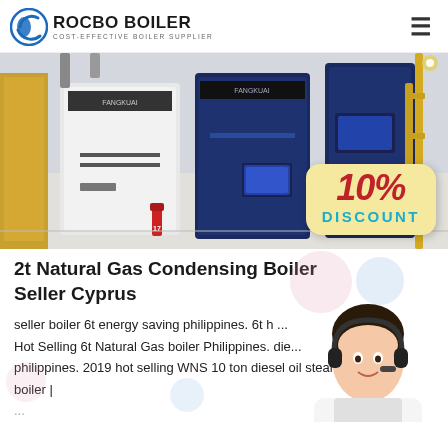[Figure (logo): Rocbo Boiler logo with crescent icon and text 'ROCBO BOILER - COST-EFFECTIVE BOILER SUPPLIER']
[Figure (photo): Industrial boiler room with blue and white FANGKUAI branded boiler units, with a 10% DISCOUNT badge overlay]
2t Natural Gas Condensing Boiler Seller Cyprus
seller boiler 6t energy saving philippines. 6t h ... Hot Selling 6t Natural Gas boiler Philippines. die... philippines. 2019 hot selling WNS 10 ton diesel oil steam boiler | ...